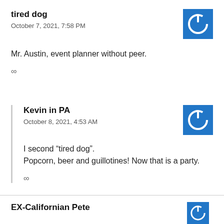tired dog
October 7, 2021, 7:58 PM
[Figure (illustration): Blue square avatar with white power button icon]
Mr. Austin, event planner without peer.
∞
Kevin in PA
October 8, 2021, 4:53 AM
[Figure (illustration): Blue square avatar with white power button icon]
I second “tired dog”.
Popcorn, beer and guillotines! Now that is a party.
∞
EX-Californian Pete
[Figure (illustration): Blue square avatar with white power button icon (partially visible)]